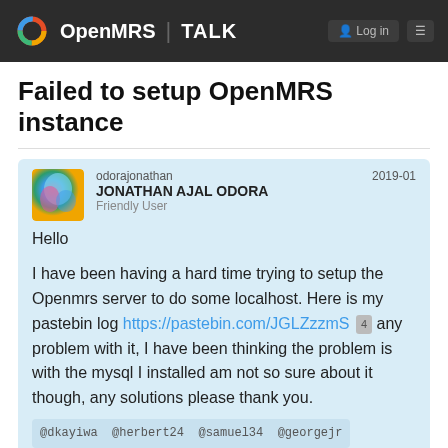OpenMRS TALK
Failed to setup OpenMRS instance
odorajonathan
JONATHAN AJAL ODORA
Friendly User
2019-01
Hello

I have been having a hard time trying to setup the Openmrs server to do some localhost. Here is my pastebin log https://pastebin.com/JGLZzzmS 4 any problem with it, I have been thinking the problem is with the mysql I installed am not so sure about it though, any solutions please thank you.

@dkayiwa @herbert24 @samuel34 @georgejr
created
last reply
68
583
1 / 69